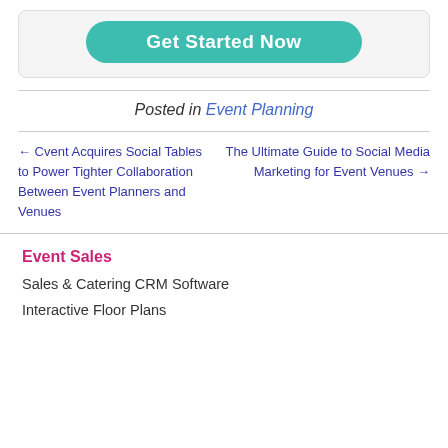[Figure (other): Teal rounded button labeled 'Get Started Now' inside a light gray card]
Posted in Event Planning
← Cvent Acquires Social Tables to Power Tighter Collaboration Between Event Planners and Venues
The Ultimate Guide to Social Media Marketing for Event Venues →
Event Sales
Sales & Catering CRM Software
Interactive Floor Plans